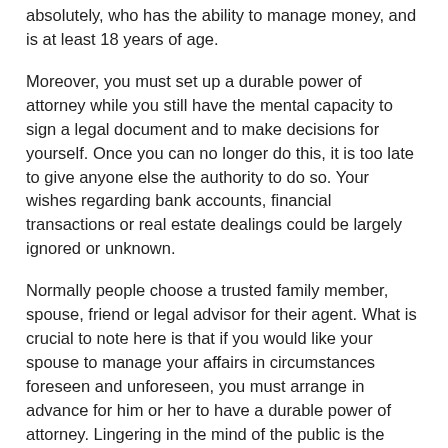absolutely, who has the ability to manage money, and is at least 18 years of age.
Moreover, you must set up a durable power of attorney while you still have the mental capacity to sign a legal document and to make decisions for yourself. Once you can no longer do this, it is too late to give anyone else the authority to do so. Your wishes regarding bank accounts, financial transactions or real estate dealings could be largely ignored or unknown.
Normally people choose a trusted family member, spouse, friend or legal advisor for their agent. What is crucial to note here is that if you would like your spouse to manage your affairs in circumstances foreseen and unforeseen, you must arrange in advance for him or her to have a durable power of attorney. Lingering in the mind of the public is the misperception that your spouse can automatically sign documents for you if you are mentally or physically incapacitated, but this is not the case.
One of the great benefits of the durable power of attorney